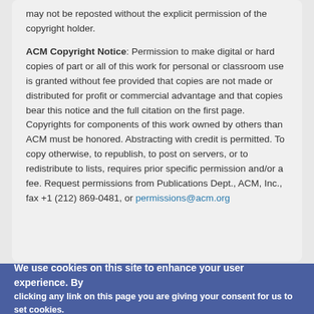may not be reposted without the explicit permission of the copyright holder.
ACM Copyright Notice: Permission to make digital or hard copies of part or all of this work for personal or classroom use is granted without fee provided that copies are not made or distributed for profit or commercial advantage and that copies bear this notice and the full citation on the first page. Copyrights for components of this work owned by others than ACM must be honored. Abstracting with credit is permitted. To copy otherwise, to republish, to post on servers, or to redistribute to lists, requires prior specific permission and/or a fee. Request permissions from Publications Dept., ACM, Inc., fax +1 (212) 869-0481, or permissions@acm.org
We use cookies on this site to enhance your user experience. By clicking any link on this page you are giving your consent for us to set cookies.